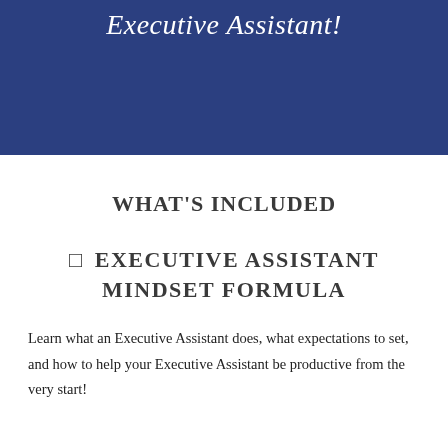Executive Assistant!
WHAT'S INCLUDED
☐ EXECUTIVE ASSISTANT MINDSET FORMULA
Learn what an Executive Assistant does, what expectations to set, and how to help your Executive Assistant be productive from the very start!